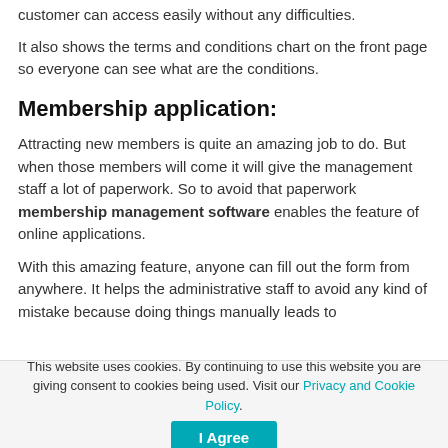customer can access easily without any difficulties.
It also shows the terms and conditions chart on the front page so everyone can see what are the conditions.
Membership application:
Attracting new members is quite an amazing job to do. But when those members will come it will give the management staff a lot of paperwork. So to avoid that paperwork membership management software enables the feature of online applications.
With this amazing feature, anyone can fill out the form from anywhere. It helps the administrative staff to avoid any kind of mistake because doing things manually leads to
This website uses cookies. By continuing to use this website you are giving consent to cookies being used. Visit our Privacy and Cookie Policy.   I Agree